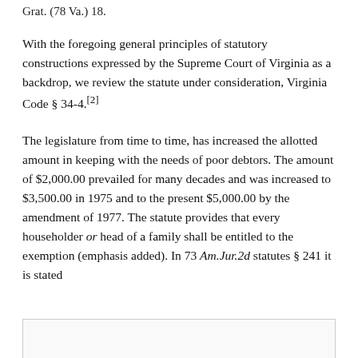Grat. (78 Va.) 18.
With the foregoing general principles of statutory constructions expressed by the Supreme Court of Virginia as a backdrop, we review the statute under consideration, Virginia Code § 34-4.[2]
The legislature from time to time, has increased the allotted amount in keeping with the needs of poor debtors. The amount of $2,000.00 prevailed for many decades and was increased to $3,500.00 in 1975 and to the present $5,000.00 by the amendment of 1977. The statute provides that every householder or head of a family shall be entitled to the exemption (emphasis added). In 73 Am.Jur.2d statutes § 241 it is stated